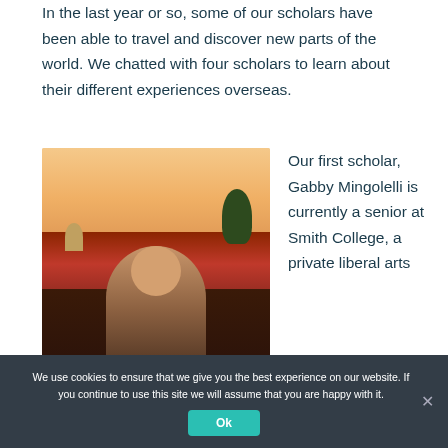In the last year or so, some of our scholars have been able to travel and discover new parts of the world. We chatted with four scholars to learn about their different experiences overseas.
[Figure (photo): Young woman smiling in front of a European cityscape with red-roofed buildings and a church tower at sunset]
Our first scholar, Gabby Mingolelli is currently a senior at Smith College, a private liberal arts
We use cookies to ensure that we give you the best experience on our website. If you continue to use this site we will assume that you are happy with it.